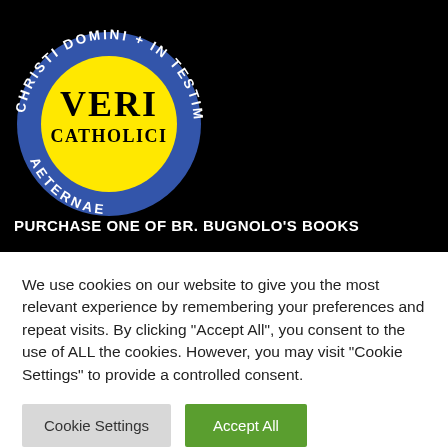[Figure (logo): Veri Catholici circular badge logo: blue border with white text 'CHRISTI DOMINI + IN TESTIMONIUM FIDEI AETERNAE' around circumference, yellow inner circle with black bold text 'VERI CATHOLICI']
PURCHASE ONE OF BR. BUGNOLO'S BOOKS
We use cookies on our website to give you the most relevant experience by remembering your preferences and repeat visits. By clicking "Accept All", you consent to the use of ALL the cookies. However, you may visit "Cookie Settings" to provide a controlled consent.
Cookie Settings
Accept All